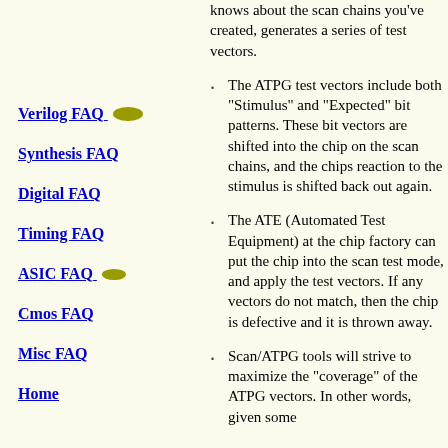knows about the scan chains you've created, generates a series of test vectors.
The ATPG test vectors include both "Stimulus" and "Expected" bit patterns. These bit vectors are shifted into the chip on the scan chains, and the chips reaction to the stimulus is shifted back out again.
The ATE (Automated Test Equipment) at the chip factory can put the chip into the scan test mode, and apply the test vectors. If any vectors do not match, then the chip is defective and it is thrown away.
Scan/ATPG tools will strive to maximize the "coverage" of the ATPG vectors. In other words, given some
Verilog FAQ
Synthesis FAQ
Digital FAQ
Timing FAQ
ASIC FAQ
Cmos FAQ
Misc FAQ
Home